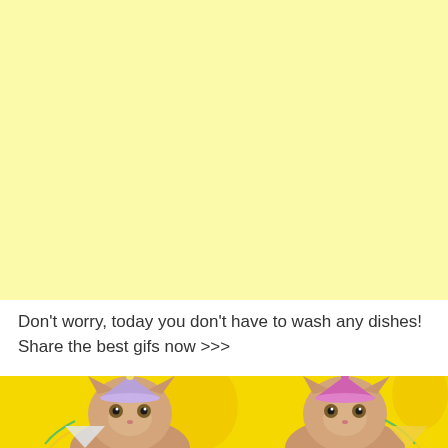[Figure (other): Large pale yellow background block filling the top portion of the page]
Don't worry, today you don't have to wash any dishes! Share the best gifs now >>>
[Figure (photo): Two kittens wearing colorful party hats (one lavender, one pink/magenta) against a yellow background with balloons and streamers]